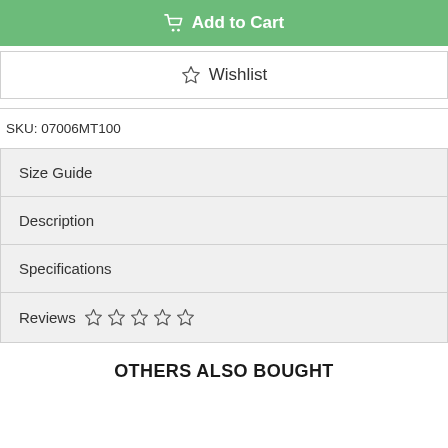Add to Cart
Wishlist
SKU: 07006MT100
Size Guide
Description
Specifications
Reviews ☆ ☆ ☆ ☆ ☆
OTHERS ALSO BOUGHT